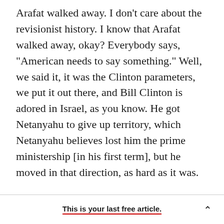Arafat walked away. I don't care about the revisionist history. I know that Arafat walked away, okay? Everybody says, "American needs to say something." Well, we said it, it was the Clinton parameters, we put it out there, and Bill Clinton is adored in Israel, as you know. He got Netanyahu to give up territory, which Netanyahu believes lost him the prime ministership [in his first term], but he moved in that direction, as hard as it was.
Bush pretty much ignored what was going on and they made a terrible error in the Palestinian elections [in which Hamas came to power in Gaza],
This is your last free article.